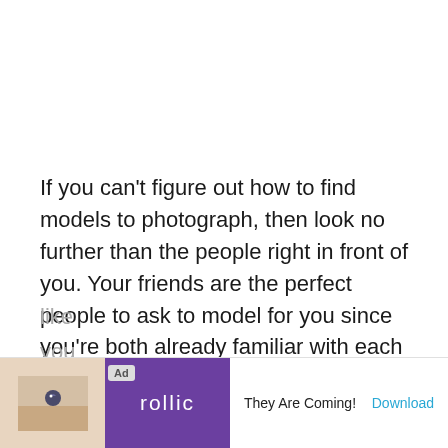If you can't figure out how to find models to photograph, then look no further than the people right in front of you. Your friends are the perfect people to ask to model for you since you're both already familiar with each other. Especially as a beginner photographer, it takes the pressure off significantly when you're just photographing your friend. Instead of feeling like… you…n
[Figure (screenshot): Advertisement banner at bottom of page for 'rollic' app — They Are Coming! with a Download button]